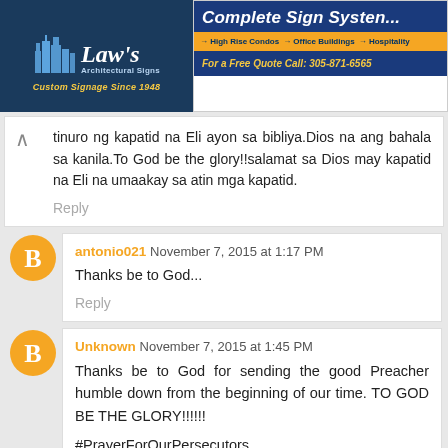[Figure (other): Law's Architectural Signs advertisement banner with city skyline logo and Complete Sign Systems tagline]
tinuro ng kapatid na Eli ayon sa bibliya.Dios na ang bahala sa kanila.To God be the glory!!salamat sa Dios may kapatid na Eli na umaakay sa atin mga kapatid.
Reply
antonio021  November 7, 2015 at 1:17 PM
Thanks be to God...
Reply
Unknown  November 7, 2015 at 1:45 PM
Thanks be to God for sending the good Preacher humble down from the beginning of our time. TO GOD BE THE GLORY!!!!!!
#PrayerForOurPersecutors